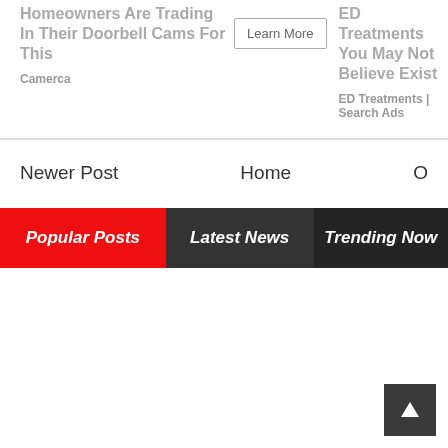Homeowners Are Trading In Their Doorbell Cams For This
Camerca
Learn More
ED Treatments You May Not Believe Exist
ED Treatments | Search Ads
Newer Post
Home
O
Popular Posts
Latest News
Trending Now